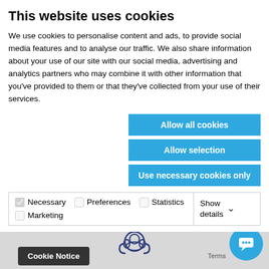This website uses cookies
We use cookies to personalise content and ads, to provide social media features and to analyse our traffic. We also share information about your use of our site with our social media, advertising and analytics partners who may combine it with other information that you've provided to them or that they've collected from your use of their services.
Allow all cookies
Allow selection
Use necessary cookies only
| ☑ Necessary | ☐ Preferences | ☐ Statistics | Show details ▾ |
| ☐ Marketing |  |  |  |
Got a Question?
Check our FAQ page, or message us on Live Chat.
Cookie Notice